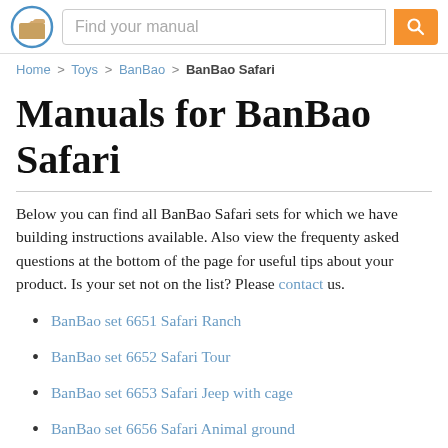Find your manual
Home > Toys > BanBao > BanBao Safari
Manuals for BanBao Safari
Below you can find all BanBao Safari sets for which we have building instructions available. Also view the frequenty asked questions at the bottom of the page for useful tips about your product. Is your set not on the list? Please contact us.
BanBao set 6651 Safari Ranch
BanBao set 6652 Safari Tour
BanBao set 6653 Safari Jeep with cage
BanBao set 6656 Safari Animal ground